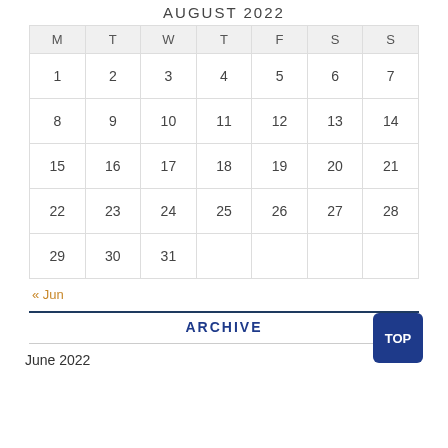AUGUST 2022
| M | T | W | T | F | S | S |
| --- | --- | --- | --- | --- | --- | --- |
| 1 | 2 | 3 | 4 | 5 | 6 | 7 |
| 8 | 9 | 10 | 11 | 12 | 13 | 14 |
| 15 | 16 | 17 | 18 | 19 | 20 | 21 |
| 22 | 23 | 24 | 25 | 26 | 27 | 28 |
| 29 | 30 | 31 |  |  |  |  |
« Jun
ARCHIVE
June 2022